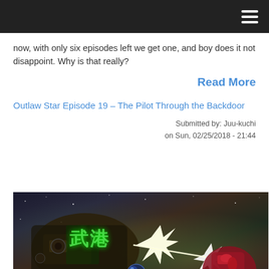now, with only six episodes left we get one, and boy does it not disappoint. Why is that really?
Read More
Outlaw Star Episode 19 – The Pilot Through the Backdoor
Submitted by: Juu-kuchi
on Sun, 02/25/2018 - 21:44
[Figure (photo): Anime screenshot from Outlaw Star Episode 19 showing a space battle scene with mecha/robots and explosions, with green kanji text visible]